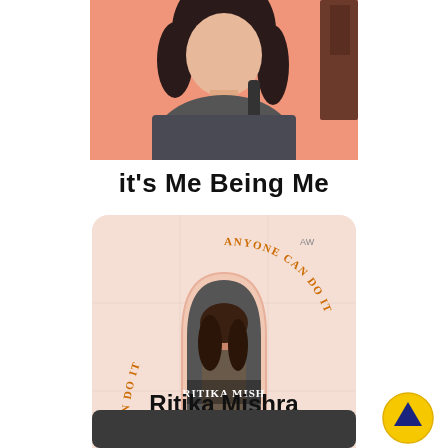[Figure (illustration): Anime-style illustration of a person with dark hair and a backpack, cropped at top of page, pink/salmon background]
it's Me Being Me
[Figure (illustration): Podcast cover art on light pink background with arch motif. Curved orange text reads 'IF I CAN DO IT ANYONE CAN DO IT' around the arch. Center shows a photo of a young woman (Ritika Mishra) sitting on a motorcycle, with 'RITIKA MISHRA' text overlaid in white.]
Ritika Mishra
[Figure (other): Yellow circular button with dark upward arrow, bottom right corner]